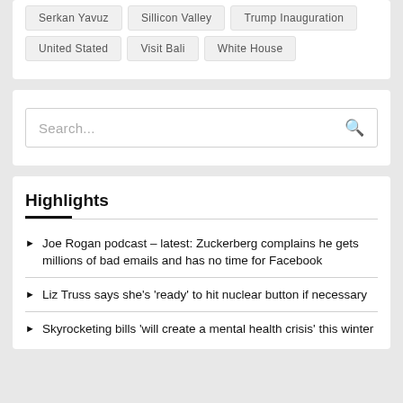Serkan Yavuz
Sillicon Valley
Trump Inauguration
United Stated
Visit Bali
White House
Search...
Highlights
Joe Rogan podcast – latest: Zuckerberg complains he gets millions of bad emails and has no time for Facebook
Liz Truss says she's 'ready' to hit nuclear button if necessary
Skyrocketing bills 'will create a mental health crisis' this winter